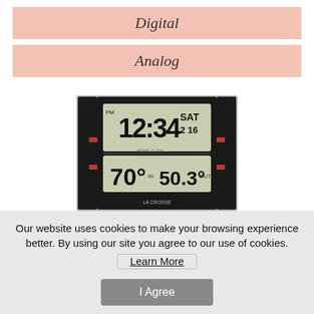Digital
Analog
[Figure (photo): A digital alarm clock displaying 12:34 SAT 2 16, with indoor temperature 70° and outdoor temperature 50.3°, on a black rectangular device with silver accents.]
Our website uses cookies to make your browsing experience better. By using our site you agree to our use of cookies.
Learn More
I Agree